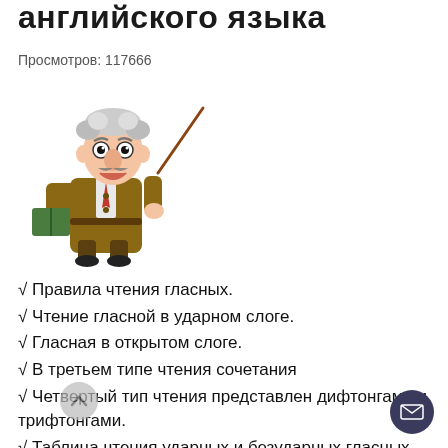английского языка
Просмотров: 117666
[Figure (illustration): Cartoon of a professor/teacher with gray hair holding a pointer stick and a book, wearing a brown coat]
√ Правила чтения гласных.
√ Чтение гласной в ударном слоге.
√ Гласная в открытом слоге.
√ В третьем типе чтения сочетания
√ Четвертый тип чтения представлен дифтонгами и трифтонгами.
√ Таблица чтения ударных и безударных гласных.
√ Чтение буквосочетаний гласных.